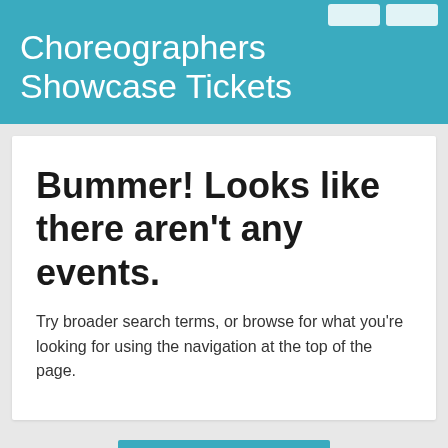Choreographers Showcase Tickets
Bummer! Looks like there aren't any events.
Try broader search terms, or browse for what you're looking for using the navigation at the top of the page.
Load More
About A Choreographers Showcase